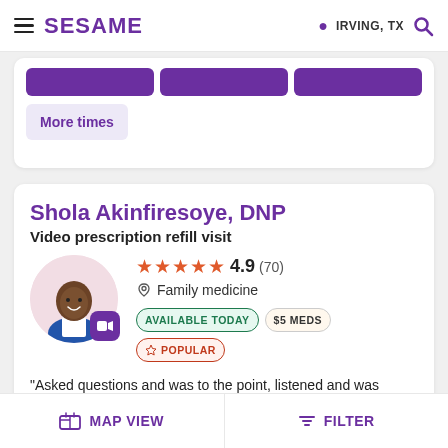SESAME | IRVING, TX
More times
Shola Akinfiresoye, DNP
Video prescription refill visit
[Figure (photo): Doctor photo of Shola Akinfiresoye with video badge icon]
★★★★★ 4.9 (70) Family medicine AVAILABLE TODAY $5 MEDS POPULAR
"Asked questions and was to the point, listened and was friendly and professional. Would definitely recommend."
MAP VIEW | FILTER